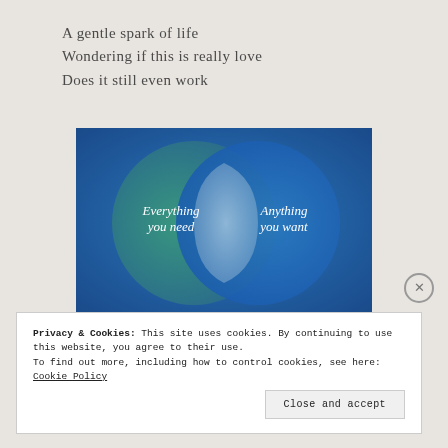A gentle spark of life
Wondering if this is really love
Does it still even work
[Figure (infographic): Venn diagram with two overlapping circles on a blue-green gradient background. Left circle (teal/green) contains text 'Everything you need'. Right circle (blue) contains text 'Anything you want'. The overlapping lens-shaped intersection is a lighter blue-grey.]
Privacy & Cookies: This site uses cookies. By continuing to use this website, you agree to their use.
To find out more, including how to control cookies, see here: Cookie Policy
Close and accept